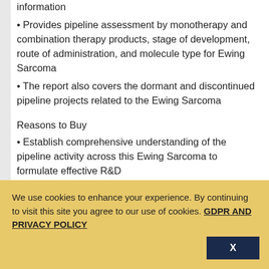information
Provides pipeline assessment by monotherapy and combination therapy products, stage of development, route of administration, and molecule type for Ewing Sarcoma
The report also covers the dormant and discontinued pipeline projects related to the Ewing Sarcoma
Reasons to Buy
Establish comprehensive understanding of the pipeline activity across this Ewing Sarcoma to formulate effective R&D
We use cookies to enhance your experience. By continuing to visit this site you agree to our use of cookies. GDPR AND PRIVACY POLICY